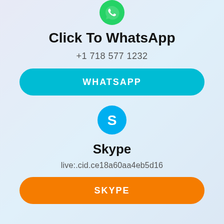[Figure (logo): WhatsApp green circular logo icon at top]
Click To WhatsApp
+1 718 577 1232
WHATSAPP
[Figure (logo): Skype blue circular logo icon with white S]
Skype
live:.cid.ce18a60aa4eb5d16
SKYPE